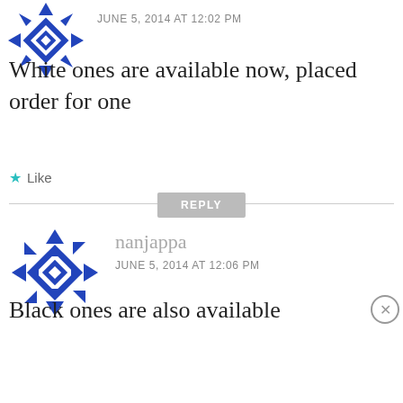[Figure (illustration): Blue geometric/snowflake avatar icon for first commenter, partially visible at top]
JUNE 5, 2014 AT 12:02 PM
White ones are available now, placed order for one
★ Like
REPLY
[Figure (illustration): Blue geometric/snowflake avatar icon for commenter nanjappa]
nanjappa
JUNE 5, 2014 AT 12:06 PM
Black ones are also available
Advertisements
[Figure (infographic): DuckDuckGo advertisement banner: orange section with 'Search, browse, and email with more privacy. All in One Free App' and dark section with DuckDuckGo logo]